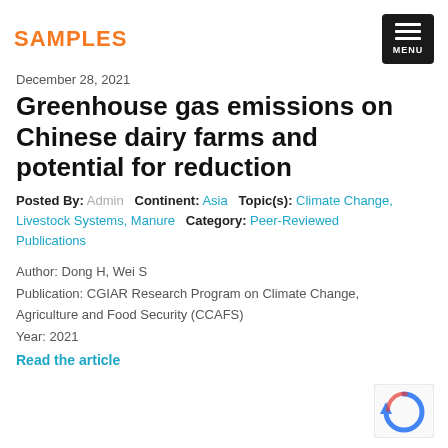SAMPLES
December 28, 2021
Greenhouse gas emissions on Chinese dairy farms and potential for reduction
Posted By: Admin  Continent: Asia  Topic(s): Climate Change, Livestock Systems, Manure  Category: Peer-Reviewed Publications
Author: Dong H, Wei S
Publication: CGIAR Research Program on Climate Change, Agriculture and Food Security (CCAFS)
Year: 2021
Read the article